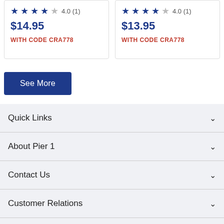★★★★☆ 4.0 (1) — $14.95 — WITH CODE CRA778
★★★★☆ 4.0 (1) — $13.95 — WITH CODE CRA778
See More
Quick Links
About Pier 1
Contact Us
Customer Relations